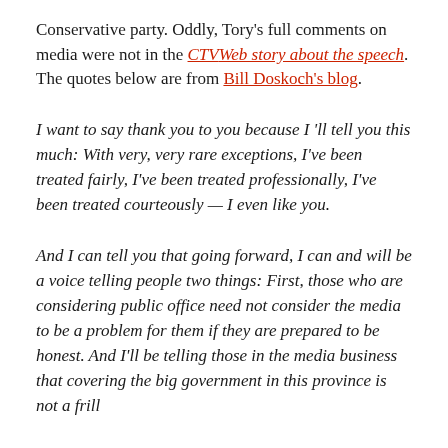Conservative party. Oddly, Tory's full comments on media were not in the CTV Web story about the speech. The quotes below are from Bill Doskoch's blog.
I want to say thank you to you because I 'll tell you this much: With very, very rare exceptions, I've been treated fairly, I've been treated professionally, I've been treated courteously — I even like you.
And I can tell you that going forward, I can and will be a voice telling people two things: First, those who are considering public office need not consider the media to be a problem for them if they are prepared to be honest. And I'll be telling those in the media business that covering the big government in this province is not a frill